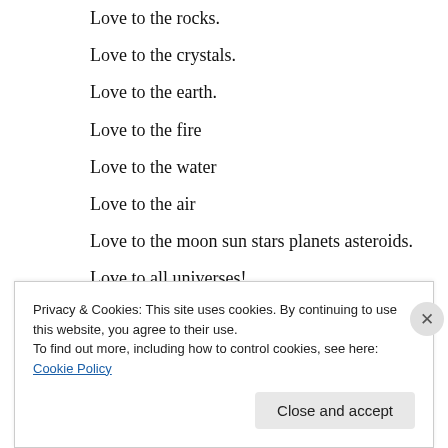Love to the rocks.
Love to the crystals.
Love to the earth.
Love to the fire
Love to the water
Love to the air
Love to the moon sun stars planets asteroids.
Love to all universes!
↳ Reply
Privacy & Cookies: This site uses cookies. By continuing to use this website, you agree to their use. To find out more, including how to control cookies, see here: Cookie Policy
Close and accept